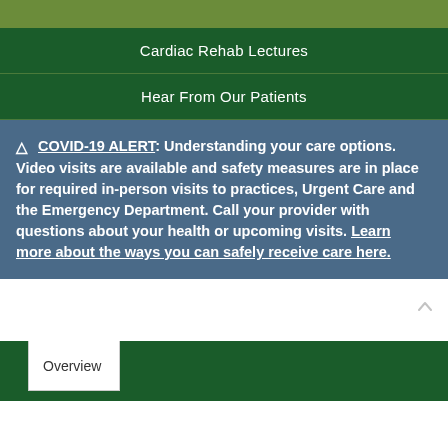Cardiac Rehab Lectures
Hear From Our Patients
⚠ COVID-19 ALERT: Understanding your care options. Video visits are available and safety measures are in place for required in-person visits to practices, Urgent Care and the Emergency Department. Call your provider with questions about your health or upcoming visits. Learn more about the ways you can safely receive care here.
Overview